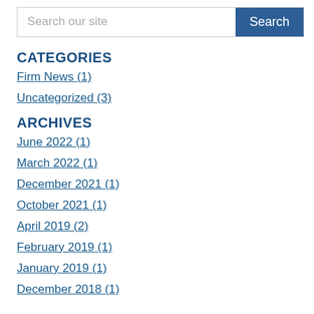Search our site | Search
CATEGORIES
Firm News (1)
Uncategorized (3)
ARCHIVES
June 2022 (1)
March 2022 (1)
December 2021 (1)
October 2021 (1)
April 2019 (2)
February 2019 (1)
January 2019 (1)
December 2018 (1)